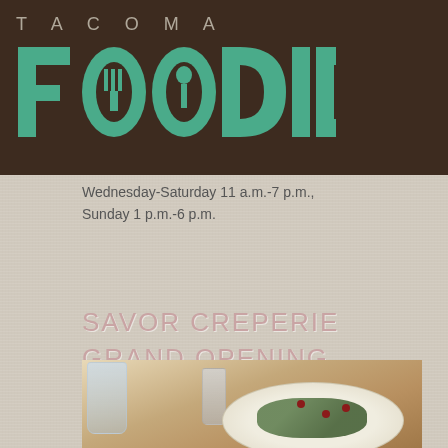[Figure (logo): Tacoma Foodie logo with brown background. 'TACOMA' in spaced gray letters above large teal 'FOODIE' text with fork graphic embedded in the O letters.]
Wednesday-Saturday 11 a.m.-7 p.m., Sunday 1 p.m.-6 p.m.
SAVOR CREPERIE GRAND OPENING CELEBRATION
[Figure (photo): Photo of a food dish on a white plate on a wooden table, with a glass of water and salt/pepper shakers visible in the background. The dish appears to be a crepe with greens and berries.]